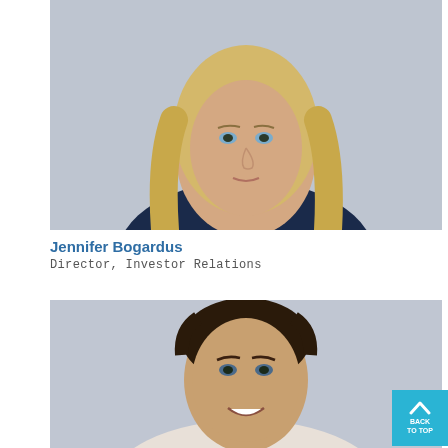[Figure (photo): Professional headshot of Jennifer Bogardus, a blonde woman in a dark top, against a light gray background]
Jennifer Bogardus
Director, Investor Relations
[Figure (photo): Professional headshot of a young man with dark hair, smiling, against a light gray background]
BACK TO TOP